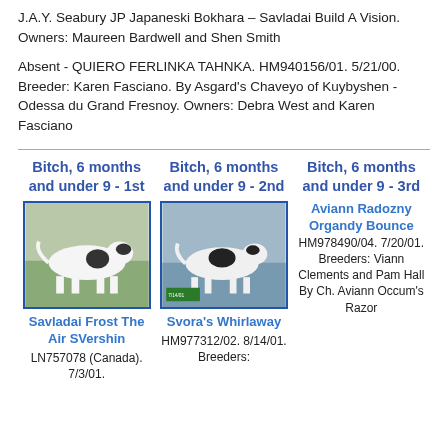J.A.Y. Seabury JP Japaneski Bokhara – Savladai Build A Vision. Owners: Maureen Bardwell and Shen Smith
Absent - QUIERO FERLINKA TAHNKA. HM940156/01. 5/21/00. Breeder: Karen Fasciano. By Asgard's Chaveyo of Kuybyshen - Odessa du Grand Fresnoy. Owners: Debra West and Karen Fasciano
Bitch, 6 months and under 9 - 1st
[Figure (photo): Dog show photo - white and black dog standing sideways]
Savladai Frost The Air SVershin LN757078 (Canada). 7/3/01.
Bitch, 6 months and under 9 - 2nd
[Figure (photo): Dog show photo - black and white dog standing sideways]
Svora's Whirlaway HM977312/02. 8/14/01. Breeders:
Bitch, 6 months and under 9 - 3rd
Aviann Radozny Organdy Bounce HM978490/04. 7/20/01. Breeders: Viann Clements and Pam Hall By Ch. Aviann Occum's Razor